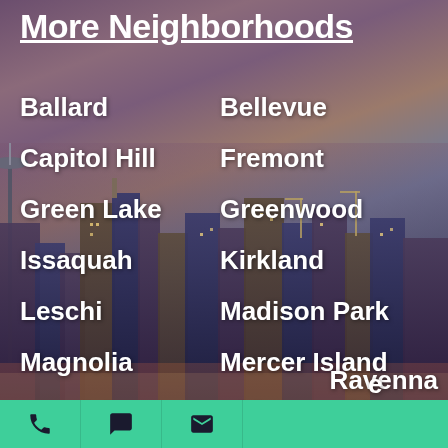More Neighborhoods
Ballard
Bellevue
Capitol Hill
Fremont
Green Lake
Greenwood
Issaquah
Kirkland
Leschi
Madison Park
Magnolia
Mercer Island
Montlake
Phinney Ridge
Ravenna
[Figure (photo): Seattle skyline cityscape at dusk with skyscrapers and the Space Needle visible on the left, against a purple-pink twilight sky]
Phone | Chat | Email icons (teal bar)